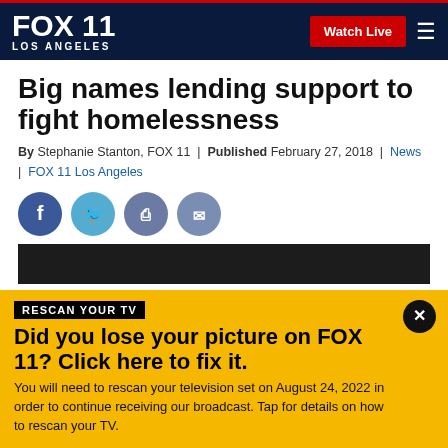FOX 11 LOS ANGELES | Watch Live
Big names lending support to fight homelessness
By Stephanie Stanton, FOX 11 | Published February 27, 2018 | News | FOX 11 Los Angeles
[Figure (other): Social share icons: Facebook, Twitter, Print, Email]
[Figure (other): Video player placeholder, dark background]
RESCAN YOUR TV
Did you lose your picture on FOX 11? Click here to fix it.
You will need to rescan your television set on August 24, 2022 in order to continue receiving our broadcast. Tap for details on how to rescan your TV.